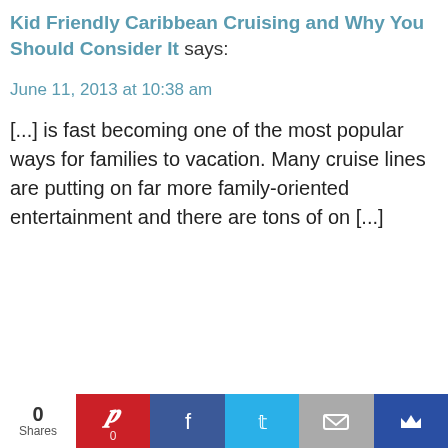Kid Friendly Caribbean Cruising and Why You Should Consider It says:
June 11, 2013 at 10:38 am
[...] is fast becoming one of the most popular ways for families to vacation. Many cruise lines are putting on far more family-oriented entertainment and there are tons of on [...]
[Figure (other): Gray advertisement placeholder box]
0
Shares